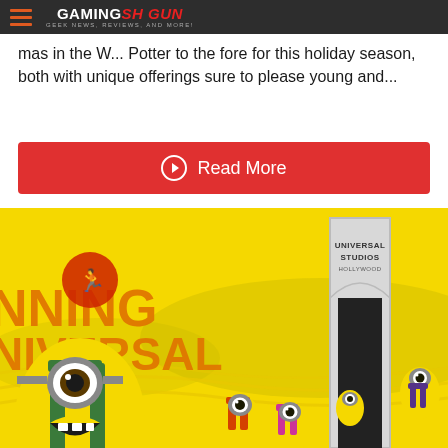GAMING SHOGUN — GEEK NEWS, REVIEWS, AND MORE!
mas in the W... Potter to the fore for this holiday season, both with unique offerings sure to please young and...
Read More
[Figure (photo): Running Universal Studios Hollywood promotional image featuring Minion characters (from Despicable Me) in running gear on a bright yellow background with the Universal Studios Hollywood globe/arch logo visible on the right side.]